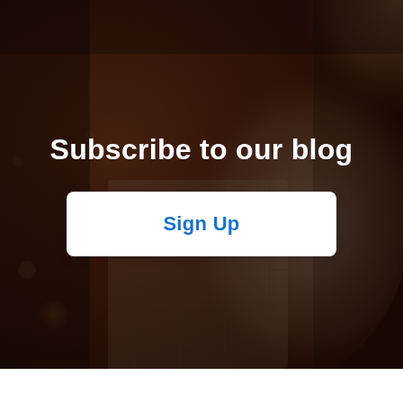[Figure (photo): Background photo of a laughing person outdoors, with a warm brown/amber overlay darkening the image. The lower portion of the page has a white bar.]
Subscribe to our blog
Sign Up